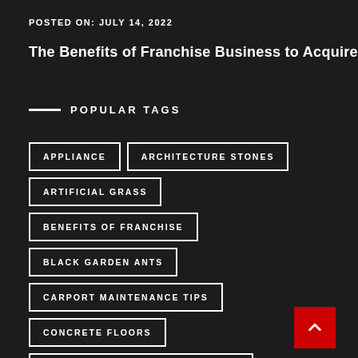POSTED ON: JULY 14, 2022
The Benefits of Franchise Business to Acquire
POPULAR TAGS
APPLIANCE
ARCHITECTURE STONES
ARTIFICIAL GRASS
BENEFITS OF FRANCHISE
BLACK GARDEN ANTS
CARPORT MAINTENANCE TIPS
CONCRETE FLOORS
COST OF PEST CONTROL SERVICES